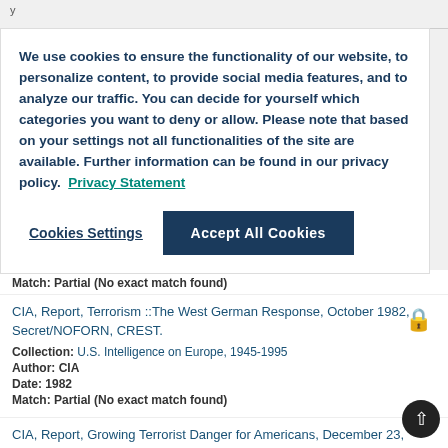y
We use cookies to ensure the functionality of our website, to personalize content, to provide social media features, and to analyze our traffic. You can decide for yourself which categories you want to deny or allow. Please note that based on your settings not all functionalities of the site are available. Further information can be found in our privacy policy. Privacy Statement
Cookies Settings | Accept All Cookies
Match: Partial (No exact match found)
CIA, Report, Terrorism ::The West German Response, October 1982, Secret/NOFORN, CREST.
Collection: U.S. Intelligence on Europe, 1945-1995
Author: CIA
Date: 1982
Match: Partial (No exact match found)
CIA, Report, Growing Terrorist Danger for Americans, December 23, 1981, Secret/NOFORN, RBI...